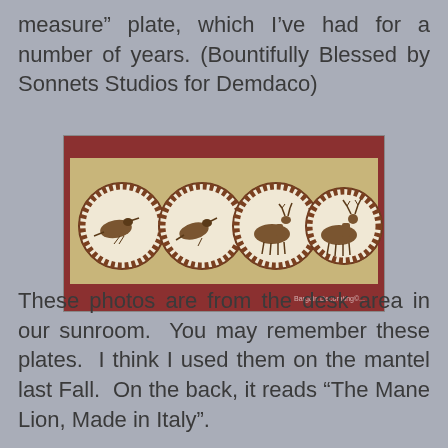measure” plate, which I’ve had for a number of years. (Bountifully Blessed by Sonnets Studios for Demdaco)
[Figure (photo): Four decorative plates displayed on a wooden shelf. Each plate has a brown transfer-print border and features wildlife imagery: two plates with pheasants/birds and two plates with deer/stags.]
These photos are from the desk area in our sunroom. You may remember these plates. I think I used them on the mantel last Fall. On the back, it reads “The Mane Lion, Made in Italy”.